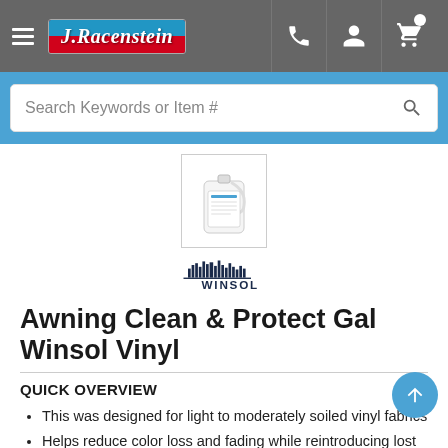J.Racenstein navigation bar with hamburger menu, logo, phone, account, and cart icons
Search Keywords or Item #
[Figure (photo): Product thumbnail image of a white gallon jug of Winsol Awning Clean & Protect Vinyl cleaner]
[Figure (logo): WINSOL brand logo with cityscape silhouette above text]
Awning Clean & Protect Gal Winsol Vinyl
QUICK OVERVIEW
This was designed for light to moderately soiled vinyl fabrics
Helps reduce color loss and fading while reintroducing lost plasticizer and UV protection
This maintains vinyl suppleness and increases its effective